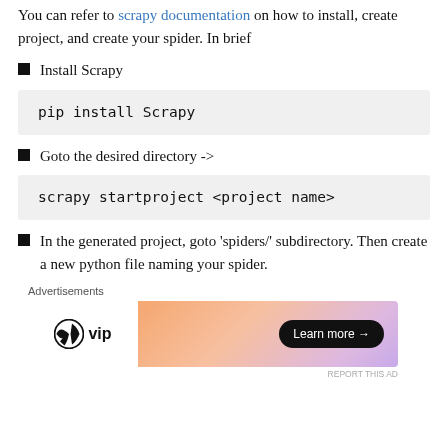You can refer to scrapy documentation on how to install, create project, and create your spider. In brief
Install Scrapy
pip install Scrapy
Goto the desired directory ->
scrapy startproject <project name>
In the generated project, goto 'spiders/' subdirectory. Then create a new python file naming your spider.
[Figure (other): Advertisement banner for WordPress VIP with 'Learn more' button on a gradient orange-purple background]